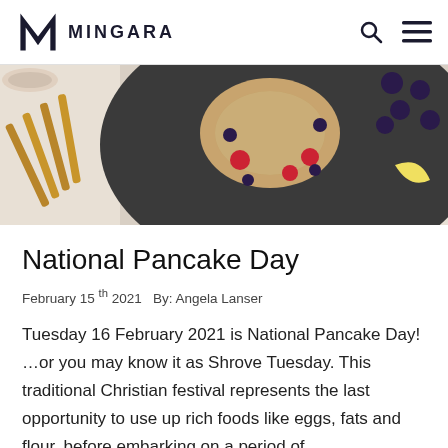MINGARA
[Figure (photo): Top-down photo of a dark slate plate with decorated pancakes, raspberries, blueberries, and powdered sugar. Cinnamon sticks and a cup visible on the left, blueberries scattered on the right.]
National Pancake Day
February 15th 2021   By: Angela Lanser
Tuesday 16 February 2021 is National Pancake Day! …or you may know it as Shrove Tuesday. This traditional Christian festival represents the last opportunity to use up rich foods like eggs, fats and flour, before embarking on a period of…